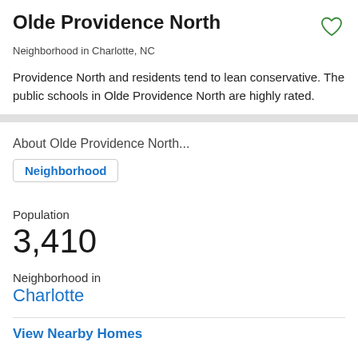Olde Providence North
Neighborhood in Charlotte, NC
Providence North and residents tend to lean conservative. The public schools in Olde Providence North are highly rated.
About Olde Providence North...
Neighborhood
Population
3,410
Neighborhood in
Charlotte
View Nearby Homes